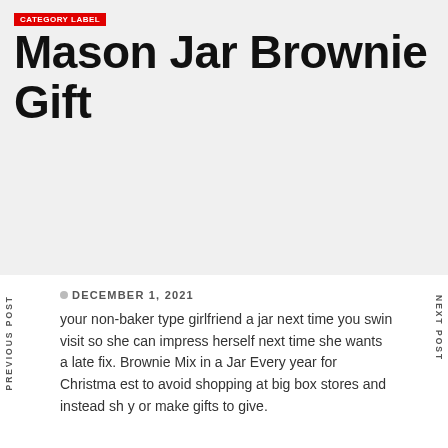CATEGORY LABEL
Mason Jar Brownie Gift
DECEMBER 1, 2021
your non-baker type girlfriend a jar next time you swin visit so she can impress herself next time she wants a late fix. Brownie Mix in a Jar Every year for Christmas est to avoid shopping at big box stores and instead sh y or make gifts to give.
[Figure (photo): Dark navy/charcoal image at the bottom of the page]